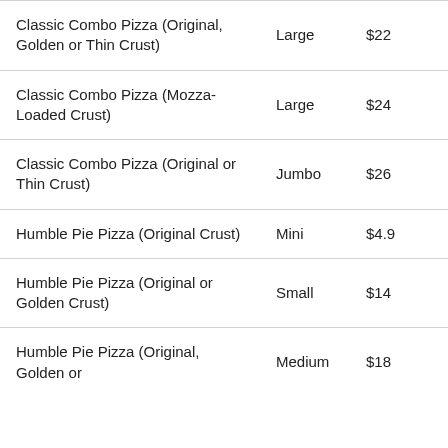| Item | Size | Price |
| --- | --- | --- |
| Classic Combo Pizza (Original, Golden or Thin Crust) | Large | $22 |
| Classic Combo Pizza (Mozza-Loaded Crust) | Large | $24 |
| Classic Combo Pizza (Original or Thin Crust) | Jumbo | $26 |
| Humble Pie Pizza (Original Crust) | Mini | $4.9 |
| Humble Pie Pizza (Original or Golden Crust) | Small | $14 |
| Humble Pie Pizza (Original, Golden or … | Medium | $18 |